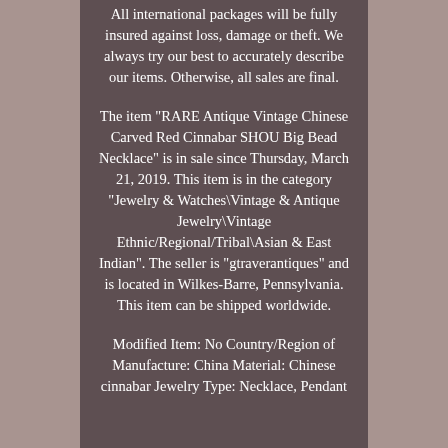All international packages will be fully insured against loss, damage or theft. We always try our best to accurately describe our items. Otherwise, all sales are final.
The item "RARE Antique Vintage Chinese Carved Red Cinnabar SHOU Big Bead Necklace" is in sale since Thursday, March 21, 2019. This item is in the category "Jewelry & Watches\Vintage & Antique Jewelry\Vintage Ethnic/Regional/Tribal\Asian & East Indian". The seller is "gtraverantiques" and is located in Wilkes-Barre, Pennsylvania. This item can be shipped worldwide.
Modified Item: No Country/Region of Manufacture: China Material: Chinese cinnabar Jewelry Type: Necklace, Pendant